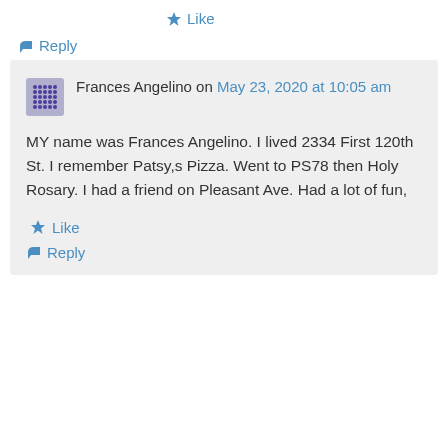★ Like
↪ Reply
Frances Angelino on May 23, 2020 at 10:05 am
MY name was Frances Angelino. I lived 2334 First 120th St. I remember Patsy,s Pizza. Went to PS78 then Holy Rosary. I had a friend on Pleasant Ave. Had a lot of fun,
★ Like
↪ Reply